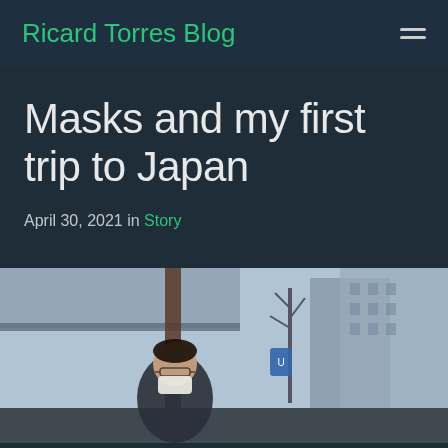Ricard Torres Blog
Masks and my first trip to Japan
April 30, 2021 in Story
[Figure (photo): A person wearing a face mask standing on a Japanese street with buildings, trees, and urban scenery in the background.]